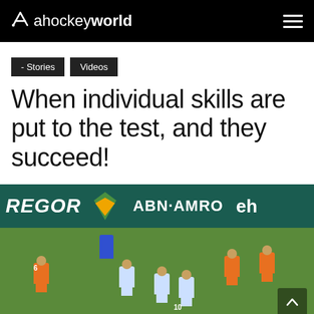ahockeyworld
- Stories
Videos
When individual skills are put to the test, and they succeed!
[Figure (photo): Hockey match photo showing players in orange and white uniforms on a green field, with stadium advertising banners for REGOR, ABN·AMRO, and other sponsors visible in the background.]